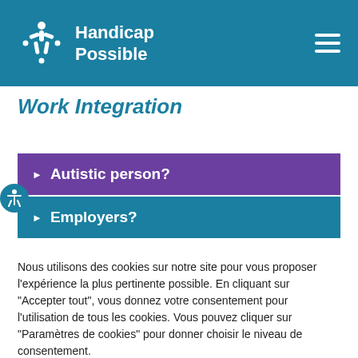Handicap Possible
Work Integration
Autistic person?
Employers?
Nous utilisons des cookies sur notre site pour vous proposer l'expérience la plus pertinente possible. En cliquant sur "Accepter tout", vous donnez votre consentement pour l'utilisation de tous les cookies. Vous pouvez cliquer sur "Paramètres de cookies" pour donner choisir le niveau de consentement.
Paramètres de cookies | Accepter tout